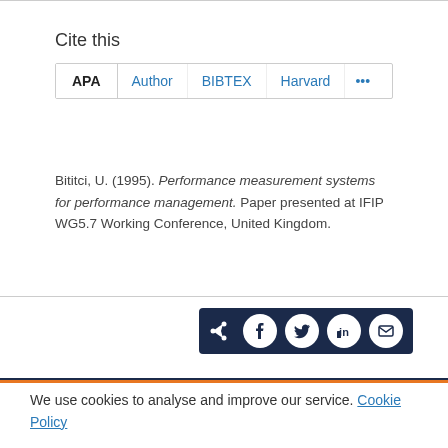Cite this
APA | Author | BIBTEX | Harvard | ...
Bititci, U. (1995). Performance measurement systems for performance management. Paper presented at IFIP WG5.7 Working Conference, United Kingdom.
[Figure (other): Social share bar with icons for share, Facebook, Twitter, LinkedIn, and email on a dark navy background]
We use cookies to analyse and improve our service. Cookie Policy